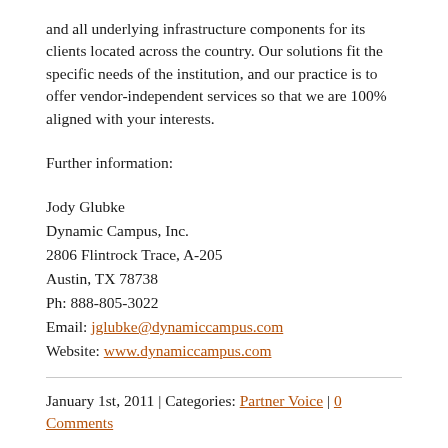and all underlying infrastructure components for its clients located across the country. Our solutions fit the specific needs of the institution, and our practice is to offer vendor-independent services so that we are 100% aligned with your interests.
Further information:
Jody Glubke
Dynamic Campus, Inc.
2806 Flintrock Trace, A-205
Austin, TX 78738
Ph: 888-805-3022
Email: jglubke@dynamiccampus.com
Website: www.dynamiccampus.com
January 1st, 2011 | Categories: Partner Voice | 0 Comments